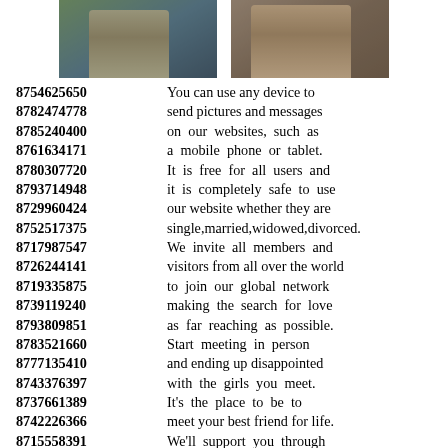[Figure (photo): Two cropped portrait photos side by side, partially shown at top of page]
8754625650 You can use any device to
8782474778 send pictures and messages
8785240400 on our websites, such as
8761634171 a mobile phone or tablet.
8780307720 It is free for all users and
8793714948 it is completely safe to use
8729960424 our website whether they are
8752517375 single,married,widowed,divorced.
8717987547 We invite all members and
8726244141 visitors from all over the world
8719335875 to join our global network
8739119240 making the search for love
8793809851 as far reaching as possible.
8783521660 Start meeting in person
8777135410 and ending up disappointed
8743376397 with the girls you meet.
8737661389 It's the place to be to
8742226366 meet your best friend for life.
8715558391 We'll support you through
8752946172 every step of your journey
8714617226 to help you find your match.
8712807945 Dating site for people looking
8766716453 for love and your happiness